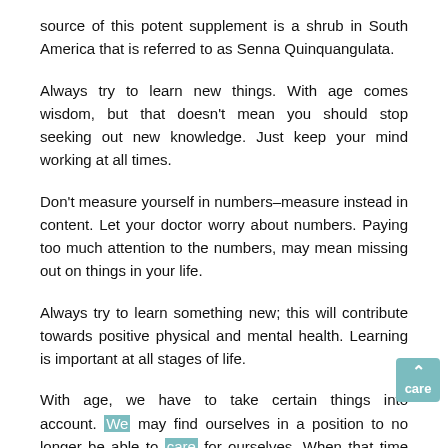source of this potent supplement is a shrub in South America that is referred to as Senna Quinquangulata.
Always try to learn new things. With age comes wisdom, but that doesn't mean you should stop seeking out new knowledge. Just keep your mind working at all times.
Don't measure yourself in numbers–measure instead in content. Let your doctor worry about numbers. Paying too much attention to the numbers, may mean missing out on things in your life.
Always try to learn something new; this will contribute towards positive physical and mental health. Learning is important at all stages of life.
With age, we have to take certain things into account. We may find ourselves in a position to no longer be able to care for ourselves. When that time comes, you may wish to